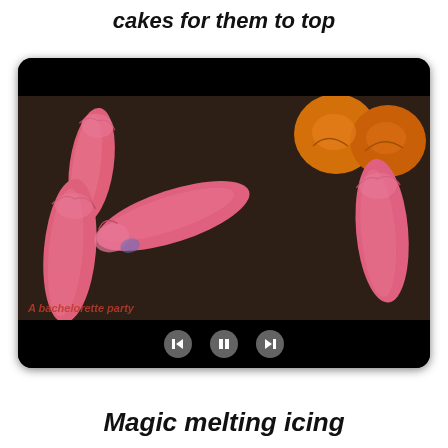cakes for them to top
[Figure (photo): A screenshot of a video player showing pink fondant/icing finger-shaped decorations on a dark background, with orange cake tops visible in the upper right. Video playback controls (back, pause, forward) are visible at the bottom center. A red italic watermark is in the lower left corner.]
Magic melting icing